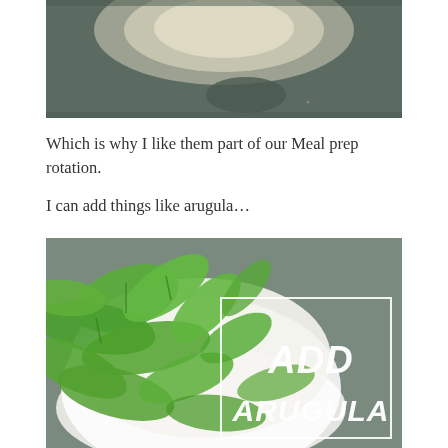[Figure (photo): Top-down photo of a bowl with food on a dark surface, partially visible at top of page]
Which is why I like them part of our Meal prep rotation.
I can add things like arugula…
[Figure (photo): A white bowl filled with fresh arugula leaves on a gray stone surface. A white rectangle border overlay in the right portion reads 'ADD ARUGULA' in bold white italic text.]